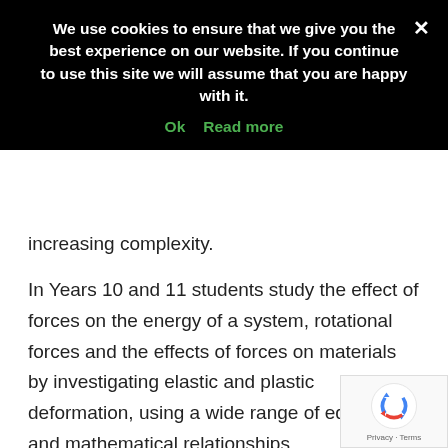[Figure (screenshot): Cookie consent banner overlay with black background. Text: 'We use cookies to ensure that we give you the best experience on our website. If you continue to use this site we will assume that you are happy with it.' with 'Ok' and 'Read more' green links, and an X close button.]
increasing complexity.
In Years 10 and 11 students study the effect of forces on the energy of a system, rotational forces and the effects of forces on materials by investigating elastic and plastic deformation, using a wide range of equations and mathematical relationships.